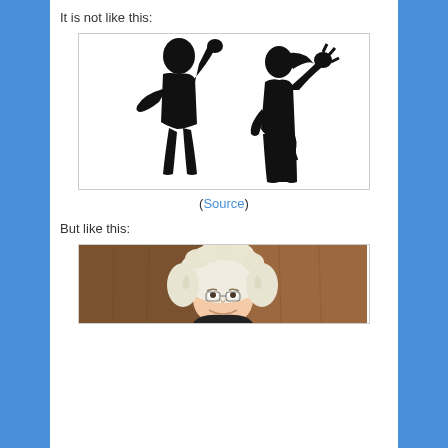It is not like this:
[Figure (illustration): Silhouette of a man raising his fist toward a woman who is recoiling and raising her arm defensively — depicting physical domestic violence.]
(Source)
But like this:
[Figure (photo): Photo of a smiling judge wearing a white barrister's wig and glasses, seated in front of a wooden background.]